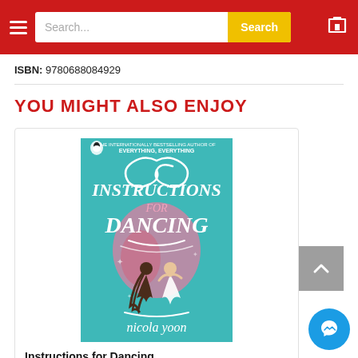Search... [Search button] [Cart icon]
ISBN: 9780688084929
YOU MIGHT ALSO ENJOY
[Figure (photo): Book cover of 'Instructions for Dancing' by Nicola Yoon. Teal background with stylized white script lettering for the title and two figures dancing. Published by Penguin.]
Instructions for Dancing
Nicola Yoon
280.000đ